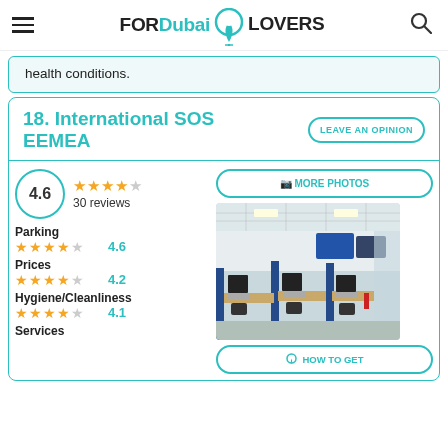FOR Dubai LOVERS
health conditions.
18. International SOS EEMEA
LEAVE AN OPINION
4.6 — 30 reviews
MORE PHOTOS
[Figure (photo): Interior of International SOS EEMEA office showing a call center with computers, desks, and blue partitions]
Parking — 4.6 stars — 4.6
Prices — 4.2 stars — 4.2
Hygiene/Cleanliness — 4.1 stars — 4.1
Services
HOW TO GET